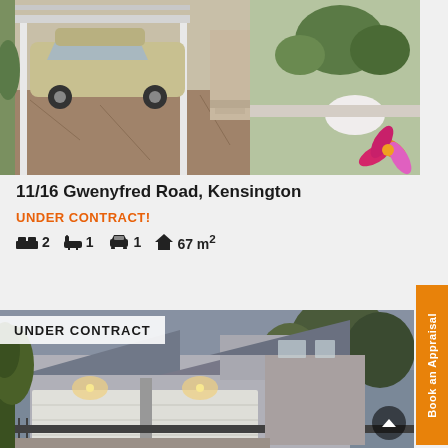[Figure (photo): Top photo showing a carport with a parked gold/beige sedan car, red brick driveway, garden with plants and a large white rock, decorative flower graphic overlay in pink/orange at bottom right corner]
11/16 Gwenyfred Road, Kensington
UNDER CONTRACT!
2 bedrooms, 1 bathroom, 1 car space, 67 m²
[Figure (photo): Bottom photo showing a modern two-storey house exterior at dusk, with double garage doors illuminated by warm lights, grey metal roof, trees visible, iron fence/gate at front, 'UNDER CONTRACT' overlay text in top-left, circular scroll-up button at bottom right]